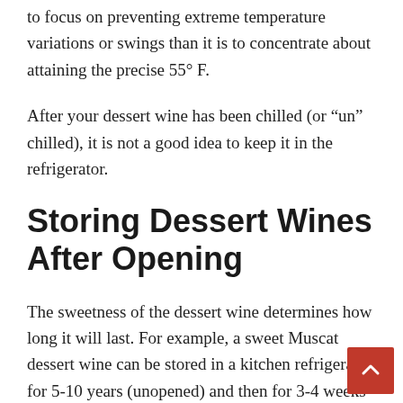to focus on preventing extreme temperature variations or swings than it is to concentrate about attaining the precise 55° F.
After your dessert wine has been chilled (or “un” chilled), it is not a good idea to keep it in the refrigerator.
Storing Dessert Wines After Opening
The sweetness of the dessert wine determines how long it will last. For example, a sweet Muscat dessert wine can be stored in a kitchen refrigerator for 5-10 years (unopened) and then for 3-4 weeks (opened) after being opened. The following are the